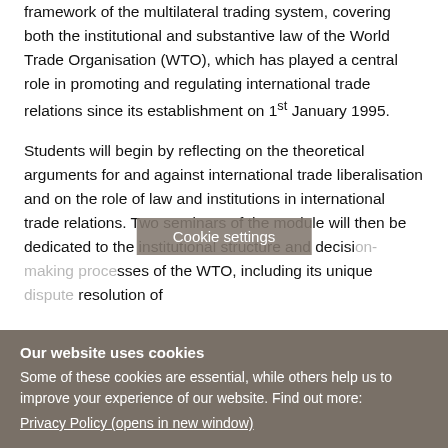framework of the multilateral trading system, covering both the institutional and substantive law of the World Trade Organisation (WTO), which has played a central role in promoting and regulating international trade relations since its establishment on 1st January 1995.
Students will begin by reflecting on the theoretical arguments for and against international trade liberalisation and on the role of law and institutions in international trade relations. Two seminars of the module will then be dedicated to the institutional structure and decision-making processes of the WTO, including its unique dispute resolution of...
Cookie settings
Our website uses cookies
Some of these cookies are essential, while others help us to improve your experience of our website. Find out more:
Privacy Policy (opens in new window)